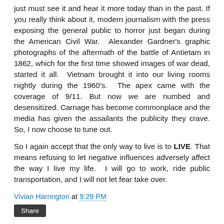just must see it and hear it more today than in the past. If you really think about it, modern journalism with the press exposing the general public to horror just began during the American Civil War.  Alexander Gardner's graphic photographs of the aftermath of the battle of Antietam in 1862, which for the first time showed images of war dead, started it all.  Vietnam brought it into our living rooms nightly during the 1960's.  The apex came with the coverage of 9/11. But now we are numbed and desensitized. Carnage has become commonplace and the media has given the assailants the publicity they crave. So, I now choose to tune out.
So I again accept that the only way to live is to LIVE. That means refusing to let negative influences adversely affect the way I live my life.  I will go to work, ride public transportation, and I will not let fear take over.
Vivian Harrington at 9:29 PM
Share